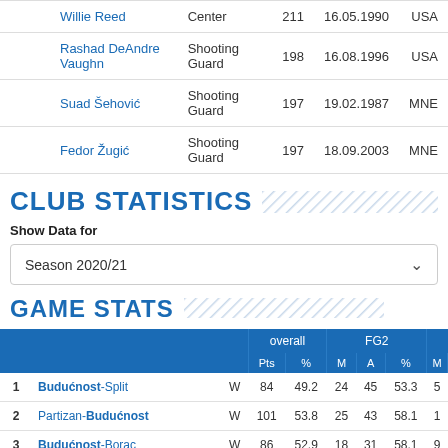|  | Name | Position | Height | DOB | Country |
| --- | --- | --- | --- | --- | --- |
|  | Willie Reed | Center | 211 | 16.05.1990 | USA |
|  | Rashad DeAndre Vaughn | Shooting Guard | 198 | 16.08.1996 | USA |
|  | Suad Šehović | Shooting Guard | 197 | 19.02.1987 | MNE |
|  | Fedor Žugić | Shooting Guard | 197 | 18.09.2003 | MNE |
CLUB STATISTICS
Show Data for
Season 2020/21
GAME STATS
|  |  | W | overall Pts | overall % | FG2 M | FG2 A | FG2 % | M |
| --- | --- | --- | --- | --- | --- | --- | --- | --- |
| 1 | Budućnost-Split | W | 84 | 49.2 | 24 | 45 | 53.3 | 5 |
| 2 | Partizan-Budućnost | W | 101 | 53.8 | 25 | 43 | 58.1 | 1 |
| 3 | Budućnost-Borac | W | 86 | 52.9 | 18 | 31 | 58.1 | 9 |
| 4 | Budućnost-FMP Meridian | W | 77 | 37.5 | 19 | 34 | 55.9 | 6 |